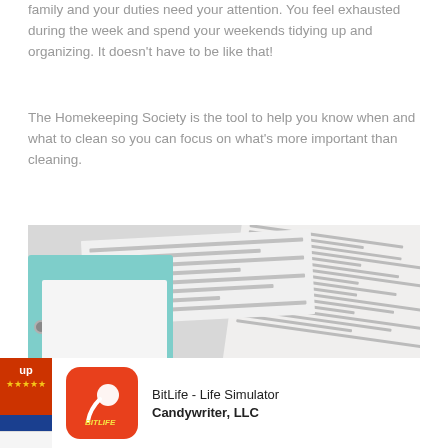family and your duties need your attention. You feel exhausted during the week and spend your weekends tidying up and organizing. It doesn't have to be like that!
The Homekeeping Society is the tool to help you know when and what to clean so you can focus on what's more important than cleaning.
[Figure (photo): A photo showing a teal binder with white pages, papers with cleaning schedule checklists including 'The Clean Mama Routine at a Glance', and a decorative bird illustration.]
[Figure (infographic): App advertisement banner showing BitLife - Life Simulator by Candywriter, LLC with the BitLife orange app icon featuring a sperm graphic.]